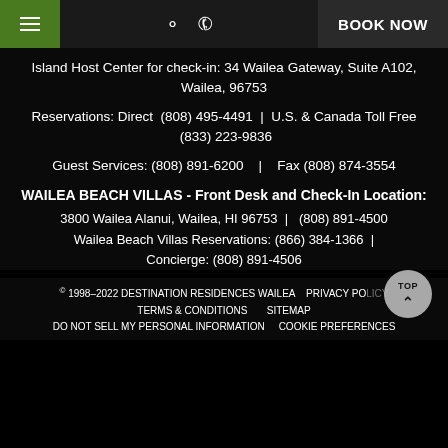BOOK NOW
Island Host Center for check-in: 34 Wailea Gateway, Suite A102, Wailea, 96753
Reservations: Direct (808) 495-4491 | U.S. & Canada Toll Free (833) 223-9836
Guest Services: (808) 891-6200 | Fax (808) 874-3554
WAILEA BEACH VILLAS - Front Desk and Check-In Location:
3800 Wailea Alanui, Wailea, HI 96753 | (808) 891-4500
Wailea Beach Villas Reservations: (866) 384-1366 |
Concierge: (808) 891-4506
© 1998–2022 DESTINATION RESIDENCES WAILEA   PRIVACY POLICY   TERMS & CONDITIONS   SITEMAP   DO NOT SELL MY PERSONAL INFORMATION   COOKIE PREFERENCES